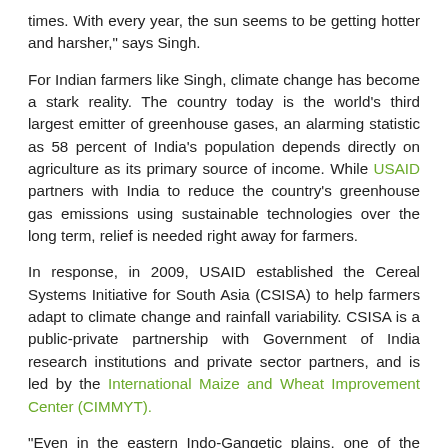times. With every year, the sun seems to be getting hotter and harsher," says Singh.
For Indian farmers like Singh, climate change has become a stark reality. The country today is the world's third largest emitter of greenhouse gases, an alarming statistic as 58 percent of India's population depends directly on agriculture as its primary source of income. While USAID partners with India to reduce the country's greenhouse gas emissions using sustainable technologies over the long term, relief is needed right away for farmers.
In response, in 2009, USAID established the Cereal Systems Initiative for South Asia (CSISA) to help farmers adapt to climate change and rainfall variability. CSISA is a public-private partnership with Government of India research institutions and private sector partners, and is led by the International Maize and Wheat Improvement Center (CIMMYT).
"Even in the eastern Indo-Gangetic plains, one of the most fertile regions in the world, we saw farmers lose 25 percent of their crop harvest due to summers arriving ahead of